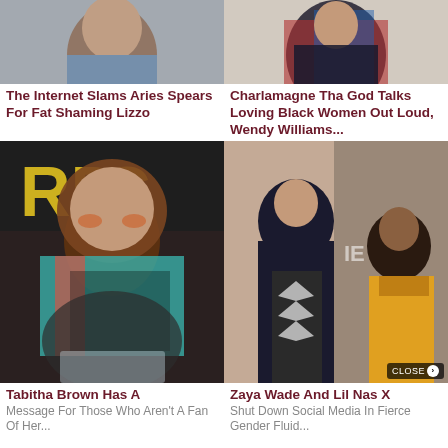[Figure (photo): Person in gray t-shirt, cropped face/shoulders]
[Figure (photo): Person in red/blue/black jacket with arms crossed]
The Internet Slams Aries Spears For Fat Shaming Lizzo
Charlamagne Tha God Talks Loving Black Women Out Loud, Wendy Williams...
[Figure (photo): Tabitha Brown with afro at podium, colorful outfit]
[Figure (photo): Zaya Wade and Lil Nas X at event]
Tabitha Brown Has A
Message For Those Who Aren't A Fan Of Her...
Zaya Wade And Lil Nas X
Shut Down Social Media In Fierce Gender Fluid...